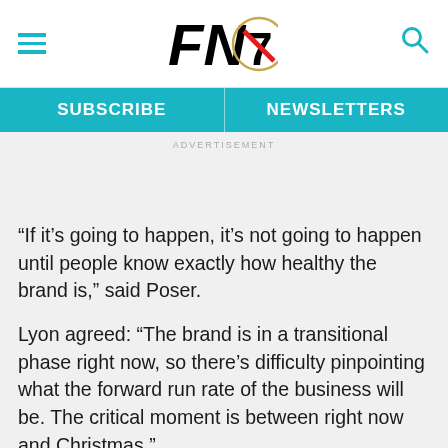FN7 (logo)
SUBSCRIBE   NEWSLETTERS
ADVERTISEMENT
“If it’s going to happen, it’s not going to happen until people know exactly how healthy the brand is,” said Poser.
Lyon agreed: “The brand is in a transitional phase right now, so there’s difficulty pinpointing what the forward run rate of the business will be. The critical moment is between right now and Christmas.”
Mitch Kummetz, analyst at Baird Investment Research, said after meeting with Deckers COO Zohar Ziv and CEO Tom George earlier this month that he still